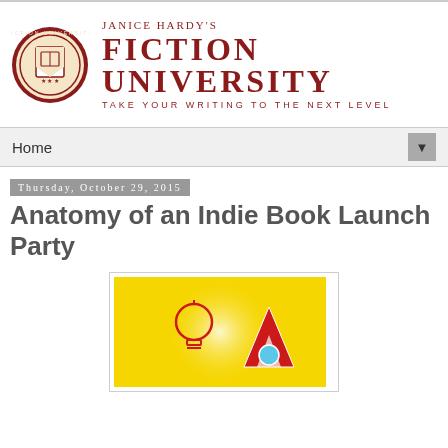Janice Hardy's Fiction University — Take Your Writing To The Next Level
Home
Thursday, October 29, 2015
Anatomy of an Indie Book Launch Party
[Figure (illustration): Yellow background illustration with a red light bulb outline on the left and a red/white rocket or geometric shape with a blue circle on the right, glowing radially from center.]